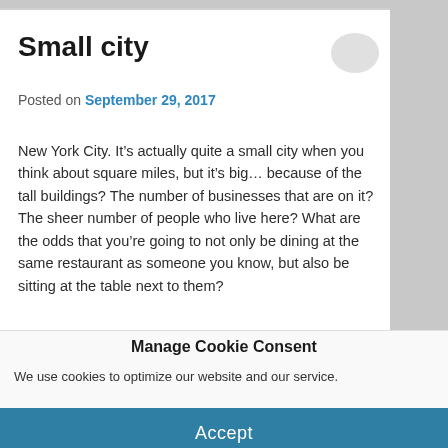Small city
Posted on September 29, 2017
New York City. It’s actually quite a small city when you think about square miles, but it’s big… because of the tall buildings? The number of businesses that are on it? The sheer number of people who live here? What are the odds that you’re going to not only be dining at the same restaurant as someone you know, but also be sitting at the table next to them?
Manage Cookie Consent
We use cookies to optimize our website and our service.
Accept